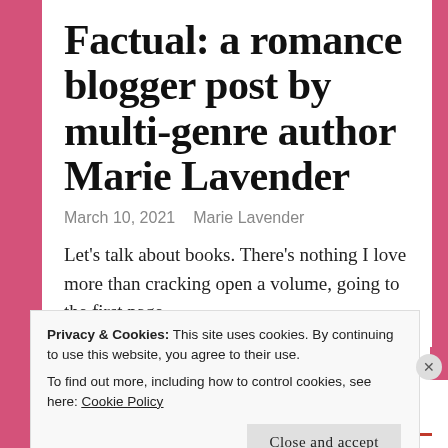Factual: a romance blogger post by multi-genre author Marie Lavender
March 10, 2021   Marie Lavender
Let's talk about books. There's nothing I love more than cracking open a volume, going to the first page
Privacy & Cookies: This site uses cookies. By continuing to use this website, you agree to their use.
To find out more, including how to control cookies, see here: Cookie Policy
Close and accept